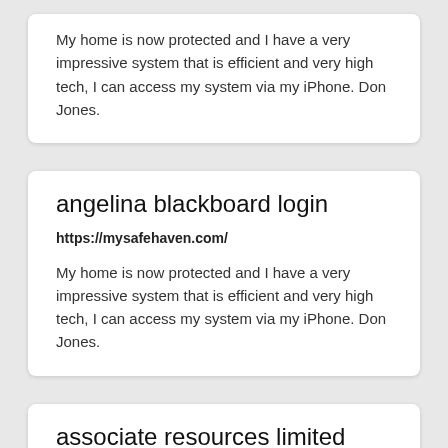My home is now protected and I have a very impressive system that is efficient and very high tech, I can access my system via my iPhone. Don Jones.
angelina blackboard login
https://mysafehaven.com/
My home is now protected and I have a very impressive system that is efficient and very high tech, I can access my system via my iPhone. Don Jones.
associate resources limited brands etm login
https://mysafehaven.com/